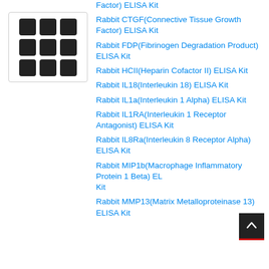[Figure (other): 3x3 grid icon representing a product catalog or listing view]
Factor) ELISA Kit
Rabbit CTGF(Connective Tissue Growth Factor) ELISA Kit
Rabbit FDP(Fibrinogen Degradation Product) ELISA Kit
Rabbit HCII(Heparin Cofactor II) ELISA Kit
Rabbit IL18(Interleukin 18) ELISA Kit
Rabbit IL1a(Interleukin 1 Alpha) ELISA Kit
Rabbit IL1RA(Interleukin 1 Receptor Antagonist) ELISA Kit
Rabbit IL8Ra(Interleukin 8 Receptor Alpha) ELISA Kit
Rabbit MIP1b(Macrophage Inflammatory Protein 1 Beta) ELISA Kit
Rabbit MMP13(Matrix Metalloproteinase 13) ELISA Kit